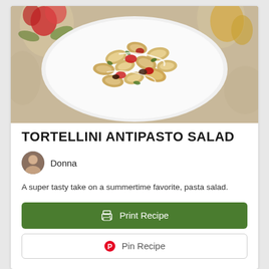[Figure (photo): Overhead photo of tortellini antipasto salad on a white plate, with red and green toppings, on a floral tablecloth background.]
TORTELLINI ANTIPASTO SALAD
Donna
A super tasty take on a summertime favorite, pasta salad.
Print Recipe
Pin Recipe